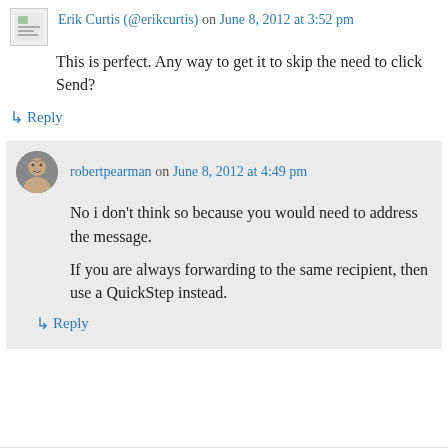Erik Curtis (@erikcurtis) on June 8, 2012 at 3:52 pm
This is perfect. Any way to get it to skip the need to click Send?
↳ Reply
robertpearman on June 8, 2012 at 4:49 pm
No i don't think so because you would need to address the message.

If you are always forwarding to the same recipient, then use a QuickStep instead.
↳ Reply